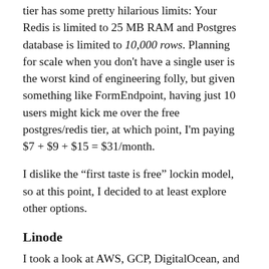tier has some pretty hilarious limits: Your Redis is limited to 25 MB RAM and Postgres database is limited to 10,000 rows. Planning for scale when you don't have a single user is the worst kind of engineering folly, but given something like FormEndpoint, having just 10 users might kick me over the free postgres/redis tier, at which point, I'm paying $7 + $9 + $15 = $31/month.
I dislike the “first taste is free” lockin model, so at this point, I decided to at least explore other options.
Linode
I took a look at AWS, GCP, DigitalOcean, and Linode. I even tinkered with GCE...what a waste of a weekend that was. I ended up with Linode.
Linode starts at $5/month, by far the best “bang for your buck” of the reputable VPS providers.